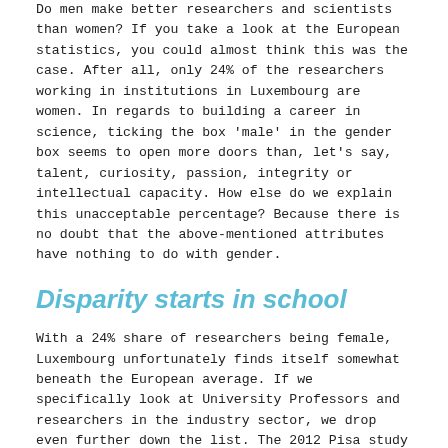Do men make better researchers and scientists than women? If you take a look at the European statistics, you could almost think this was the case. After all, only 24% of the researchers working in institutions in Luxembourg are women. In regards to building a career in science, ticking the box 'male' in the gender box seems to open more doors than, let's say, talent, curiosity, passion, integrity or intellectual capacity. How else do we explain this unacceptable percentage? Because there is no doubt that the above-mentioned attributes have nothing to do with gender.
Disparity starts in school
With a 24% share of researchers being female, Luxembourg unfortunately finds itself somewhat beneath the European average. If we specifically look at University Professors and researchers in the industry sector, we drop even further down the list. The 2012 Pisa study showed that Luxembourg is among the European countries with the highest gender disparity in mathematics and natural sciences, and this is at school level. The fact that this inequality is not as present in